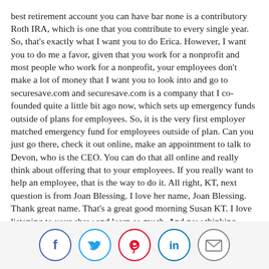best retirement account you can have bar none is a contributory Roth IRA, which is one that you contribute to every single year. So, that's exactly what I want you to do Erica. However, I want you to do me a favor, given that you work for a nonprofit and most people who work for a nonprofit, your employees don't make a lot of money that I want you to look into and go to securesave.com and securesave.com is a company that I co-founded quite a little bit ago now, which sets up emergency funds outside of plans for employees. So, it is the very first employer matched emergency fund for employees outside of plan. Can you just go there, check it out online, make an appointment to talk to Devon, who is the CEO. You can do that all online and really think about offering that to your employees. If you really want to help an employee, that is the way to do it. All right, KT, next question is from Joan Blessing. I love her name, Joan Blessing. Thank great name. That's a great good morning Susan KT. I love listening to your show and learn so much. And now thinking about replacing my car with a new car. I really don't like going to a dealership and I've read all about these online services including Carvana, which Suze you mentioned in your Sunday podcast. I'm wondering if you could do a little tutorial on which of these are good for purchasing new cars, especially used cars. Thanks so much Joan Blessing. You chose her just because of the name, right the name. I knew it. Which is Joan, I would be
[Figure (other): Social sharing buttons: Facebook (blue), Twitter (blue), Pinterest (red), LinkedIn (blue), Email (gray)]